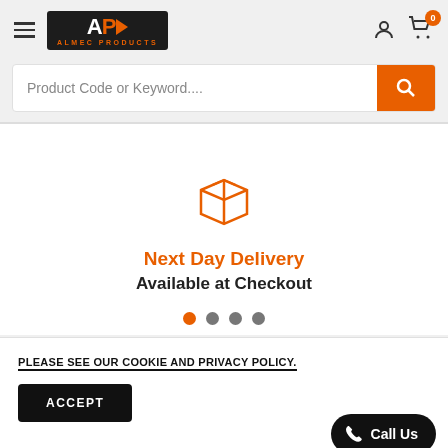Almec Products - Header with hamburger menu, logo, user and cart icons
Product Code or Keyword....
[Figure (illustration): Orange outline package/box icon representing delivery]
Next Day Delivery
Available at Checkout
PLEASE SEE OUR COOKIE AND PRIVACY POLICY.
ACCEPT
Call Us